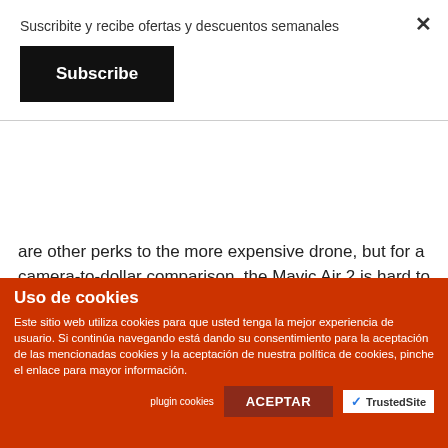Suscribite y recibe ofertas y descuentos semanales
Subscribe
are other perks to the more expensive drone, but for a camera-to-dollar comparison, the Mavic Air 2 is hard to beat.
For owners of the original Mavic Air, the Mavic Pro, Spark or anything in between, the Mavic Air 2 is the better drone. For those that enjoy the Mavic 2 Zoom, but do not rely heavily on the zoom functionality, we'd even call the Mavic Air an upgrade there as well.
Uso de cookies
Este sitio web utiliza cookies para que usted tenga la mejor experiencia de usuario. Si continúa navegando está dando su consentimiento para la aceptación de las mencionadas cookies y la aceptación de nuestra política de cookies, pinche el enlace para mayor información.
plugin cookies
ACEPTAR
TrustedSite